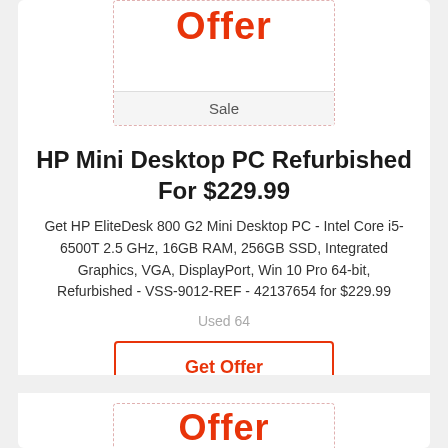Offer
Sale
HP Mini Desktop PC Refurbished For $229.99
Get HP EliteDesk 800 G2 Mini Desktop PC - Intel Core i5-6500T 2.5 GHz, 16GB RAM, 256GB SSD, Integrated Graphics, VGA, DisplayPort, Win 10 Pro 64-bit, Refurbished - VSS-9012-REF - 42137654 for $229.99
Used 64
Get Offer
in TigerDirect Coupons
Offer